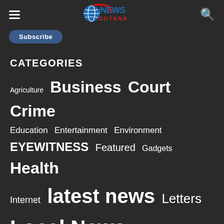iNEWS GUYANA
Subscribe
CATEGORIES
Agriculture
Business
Court
Crime
Education
Entertainment
Environment
EYEWITNESS
Featured
Gadgets
Health
Internet
latest news
Letters
Local News
Mining
Oil & Gas
Opinion
Other Stories
Politics
Regional
slider Stories
Sports
Technology
The Piper
Tourism